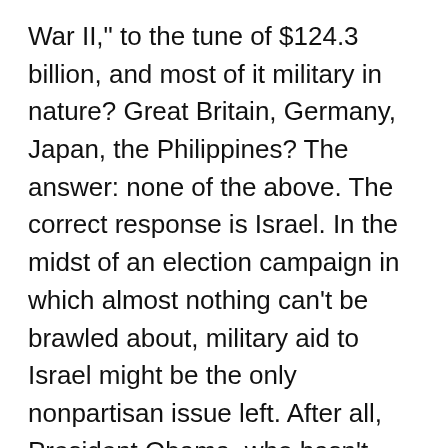War II," to the tune of $124.3 billion, and most of it military in nature?  Great Britain, Germany, Japan, the Philippines?  The answer: none of the above.  The correct response is Israel.  In the midst of an election campaign in which almost nothing can't be brawled about, military aid to Israel might be the only nonpartisan issue left.  After all, President Obama, who hasn't exactly had a chummy relationship with Prime Minister Benjamin Netanyahu and the ascendant Israeli right, recently agreed to a deal that, even compared to the present stratospheric levels of military aid to Israel, the White House has termed "the largest single pledge of military assistance in U.S. history."  You're talking about a 10-year deal (2019-2038) for this country's most